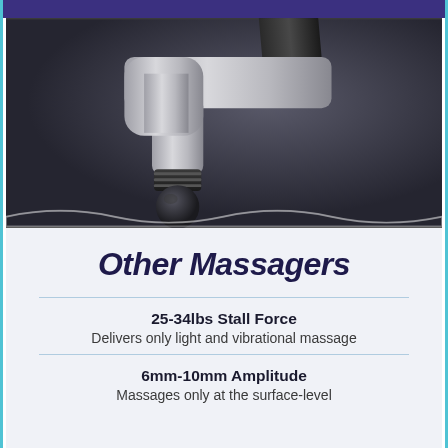[Figure (photo): Close-up photo of a massage gun head with a round black ball attachment, silver body, and black handle, on a dark background with a wave graphic at the bottom.]
Other Massagers
25-34lbs Stall Force
Delivers only light and vibrational massage
6mm-10mm Amplitude
Massages only at the surface-level